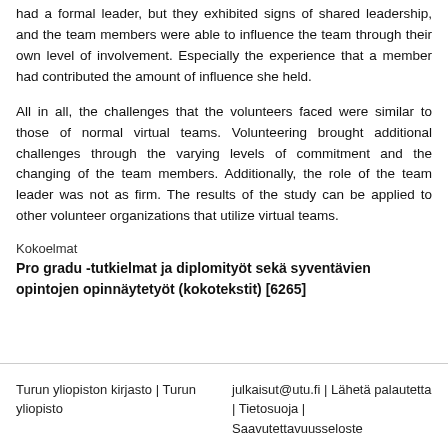had a formal leader, but they exhibited signs of shared leadership, and the team members were able to influence the team through their own level of involvement. Especially the experience that a member had contributed the amount of influence she held.
All in all, the challenges that the volunteers faced were similar to those of normal virtual teams. Volunteering brought additional challenges through the varying levels of commitment and the changing of the team members. Additionally, the role of the team leader was not as firm. The results of the study can be applied to other volunteer organizations that utilize virtual teams.
Kokoelmat
Pro gradu -tutkielmat ja diplomityöt sekä syventävien opintojen opinnäytetyöt (kokotekstit) [6265]
Turun yliopiston kirjasto | Turun yliopisto | julkaisut@utu.fi | Lähetä palautetta | Tietosuoja | Saavutettavuusseloste